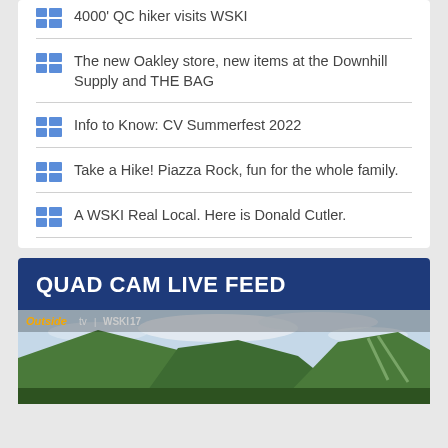4000' QC hiker visits WSKI
The new Oakley store, new items at the Downhill Supply and THE BAG
Info to Know: CV Summerfest 2022
Take a Hike! Piazza Rock, fun for the whole family.
A WSKI Real Local. Here is Donald Cutler.
QUAD CAM LIVE FEED
[Figure (photo): Outdoor live cam feed showing mountain landscape with green hills under cloudy sky, branded with Outside Tv WSKI17 overlay]